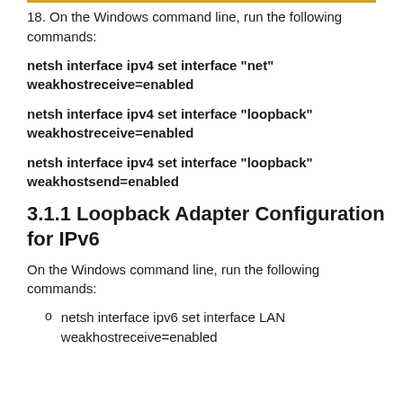18. On the Windows command line, run the following commands:
netsh interface ipv4 set interface "net" weakhostreceive=enabled
netsh interface ipv4 set interface "loopback" weakhostreceive=enabled
netsh interface ipv4 set interface "loopback" weakhostsend=enabled
3.1.1 Loopback Adapter Configuration for IPv6
On the Windows command line, run the following commands:
netsh interface ipv6 set interface LAN weakhostreceive=enabled